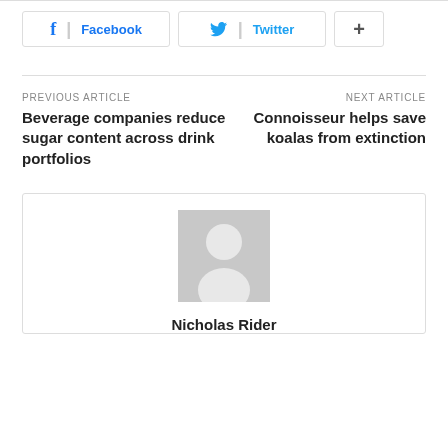[Figure (other): Social share buttons: Facebook, Twitter, and a plus/more button]
PREVIOUS ARTICLE
Beverage companies reduce sugar content across drink portfolios
NEXT ARTICLE
Connoisseur helps save koalas from extinction
[Figure (photo): Author avatar placeholder image (grey silhouette on grey background)]
Nicholas Rider